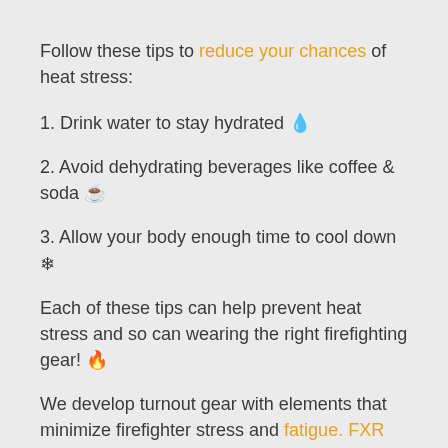Follow these tips to reduce your chances of heat stress:
1. Drink water to stay hydrated 💧
2. Avoid dehydrating beverages like coffee & soda ☕
3. Allow your body enough time to cool down ❄
Each of these tips can help prevent heat stress and so can wearing the right firefighting gear! 🔥
We develop turnout gear with elements that minimize firefighter stress and fatigue. FXR Turnout Gear has an